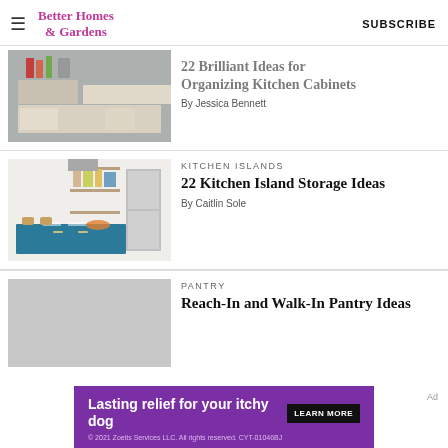Better Homes & Gardens  SUBSCRIBE
[Figure (photo): Kitchen with white cabinets and organized drawers with pots and utensils]
22 Brilliant Ideas for Organizing Kitchen Cabinets
By Jessica Bennett
[Figure (photo): Kitchen with blue island, open shelving, and modern appliances]
KITCHEN ISLANDS
22 Kitchen Island Storage Ideas
By Caitlin Sole
[Figure (photo): Gray placeholder image for pantry article]
PANTRY
Reach-In and Walk-In Pantry Ideas
[Figure (other): Advertisement banner: Lasting relief for your itchy dog - Zoetis Services LLC]